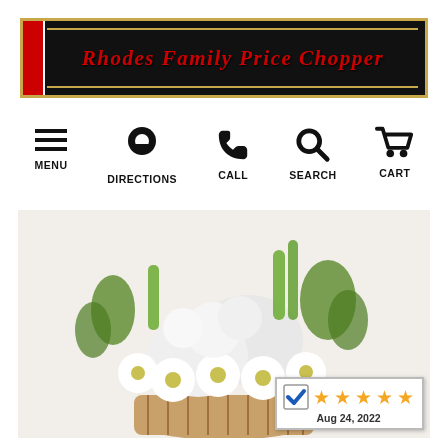[Figure (logo): Rhodes Family Price Chopper store banner with black background, gold border, red left bar, and italic red script store name]
[Figure (infographic): Navigation bar with five icons: hamburger menu (MENU), location pin (DIRECTIONS), phone handset (CALL), magnifying glass (SEARCH), shopping cart (CART)]
[Figure (photo): Floral arrangement with white daisies, white roses, white snapdragons, and green foliage in a wicker basket against a light background. Rating badge showing 5 stars and date Aug 24, 2022 overlaid in bottom right corner.]